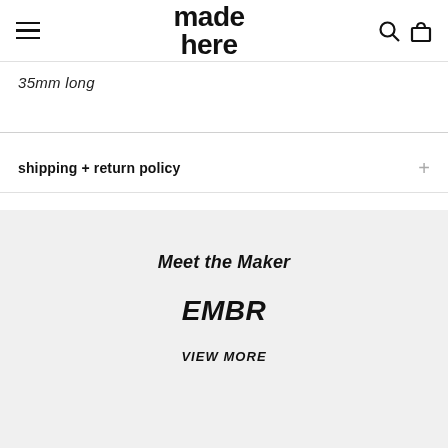made here
35mm long
shipping + return policy
Meet the Maker
EMBR
VIEW MORE